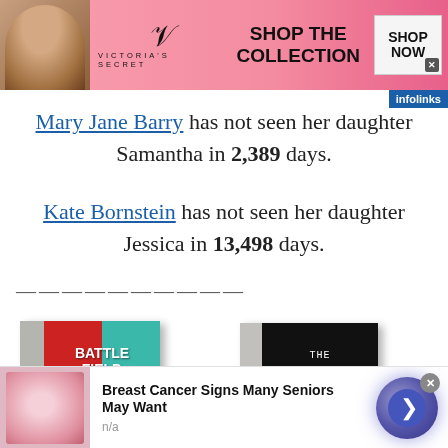[Figure (screenshot): Victoria's Secret advertisement banner showing model, VS logo, 'SHOP THE COLLECTION' text and 'SHOP NOW' button]
Mary Jane Barry has not seen her daughter Samantha in 2,389 days.
Kate Bornstein has not seen her daughter Jessica in 13,498 days.
——————————
[Figure (photo): Book covers: 'Battlefield Scientology' and 'The Unbreakable Miss Lovely']
[Figure (screenshot): Bottom advertisement: 'Breast Cancer Signs Many Seniors May Want' with n/a label and navigation button]